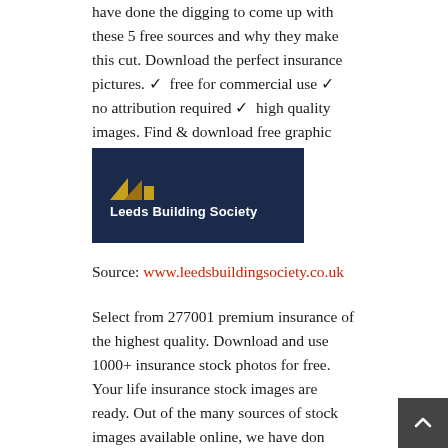have done the digging to come up with these 5 free sources and why they make this cut. Download the perfect insurance pictures. ✓ free for commercial use ✓ no attribution required ✓ high quality images. Find & download free graphic resources for insurance.
[Figure (logo): Leeds Building Society logo — dark navy background with yellow/gold roof/house icon and white bold text 'Leeds Building Society']
Source: www.leedsbuildingsociety.co.uk
Select from 277001 premium insurance of the highest quality. Download and use 1000+ insurance stock photos for free. Your life insurance stock images are ready. Out of the many sources of stock images available online, we have done the digging to come up with these 5 free sources and why they make this cut.